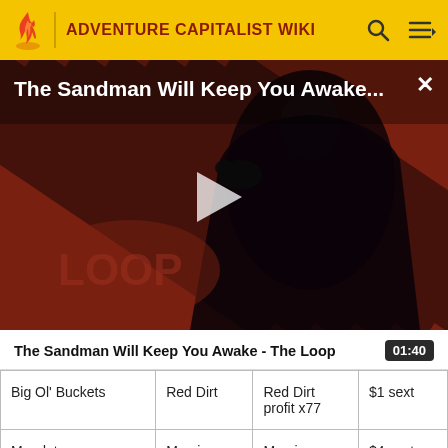ADVENTURE CAPITALIST WIKI
[Figure (screenshot): Video thumbnail for 'The Sandman Will Keep You Awake - The Loop' showing a dark-robed figure against a red diagonal striped background with The Loop logo overlay and a play button in the center.]
The Sandman Will Keep You Awake - The Loop    01:40
| Big Ol' Buckets | Red Dirt | Red Dirt profit x77 | $1 sext |
| Mandatory | Marsies | Marsies | $4 sext |